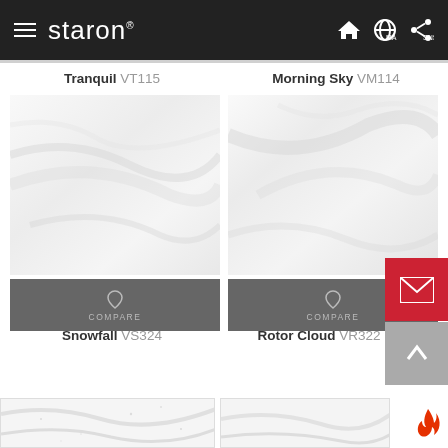staron
Tranquil VT115
Morning Sky VM114
[Figure (photo): Snowfall VS324 - white marble-like surface texture with subtle swirl patterns, grey compare bar below]
[Figure (photo): Rotor Cloud VR322 - white/light grey marbled surface with subtle diagonal texture, grey compare bar below]
Snowfall VS324
Rotor Cloud VR322